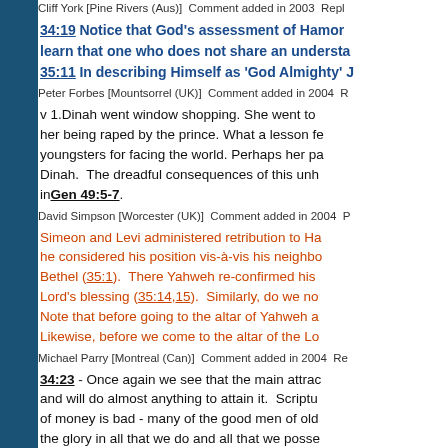Cliff York [Pine Rivers (Aus)]  Comment added in 2003  Repl...
34:19 Notice that God's assessment of Hamor...
35:11 In describing Himself as 'God Almighty' J...
Peter Forbes [Mountsorrel (UK)]  Comment added in 2004  R...
v 1.Dinah went window shopping. She went to see the daughters of the land which led to her being raped by the prince. What a lesson for youngsters for facing the world. Perhaps her pa... Dinah.  The dreadful consequences of this unh... inGen 49:5-7.
David Simpson [Worcester (UK)]  Comment added in 2004  P...
Simeon and Levi administered retribution to Ha... he considered his position vis-à-vis his neighbo... Bethel (35:1).  There Yahweh re-confirmed his... Lord's blessing (35:14,15).  Similarly, do we no... Note that before going to the altar of Yahweh a... Likewise, before we come to the altar of the Lo...
Michael Parry [Montreal (Can)]  Comment added in 2004  Re...
34:23 - Once again we see that the main attrac... and will do almost anything to attain it.  Scriptu... of money is bad - many of the good men of old... the glory in all that we do and all that we posse...
Peter  [UK]  Comment added in 2004  Reply to Peter
35:29 Feeble and blind, Isaac lived to an advan... reconciliation between Esau and Jacob as they... we still witness today.
John Wilson [Toronto West (Can)]  Comment added in 2005...
35:1-7 - "Bethel" means "house of God". In v.2... v.4 burying their "sin" under a tree somewhat...